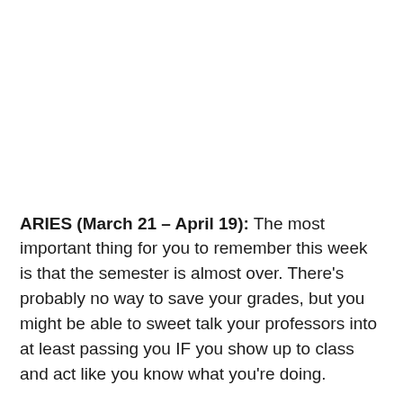ARIES (March 21 – April 19): The most important thing for you to remember this week is that the semester is almost over. There's probably no way to save your grades, but you might be able to sweet talk your professors into at least passing you IF you show up to class and act like you know what you're doing.